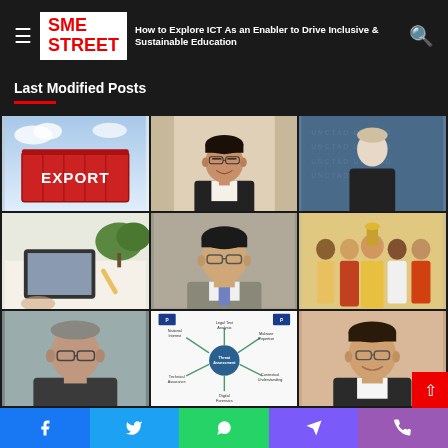SME STREET — How to Explore ICT As an Enabler to Drive Inclusive & Sustainable Education
Last Modified Posts
[Figure (photo): Red shipping container with EXPORT text on blue sky background]
[Figure (photo): Portrait of a man with glasses smiling, wearing dark jacket]
[Figure (photo): Woman speaking at UNCTAD branded event backdrop]
[Figure (photo): Person holding a tablet device with greenery in background]
[Figure (photo): Portrait of a young man with glasses in grey suit and blue tie]
[Figure (photo): Group photo at a ceremony with people in traditional and formal attire]
[Figure (photo): Portrait of an older person wearing glasses]
[Figure (infographic): Circular diagram showing Threat Assessment at center with arrows pointing to: Legal Text Analysis, Malware Expertise, Contextual Understanding, Digital Forensics, Technical Assurance]
[Figure (photo): Portrait of a man with glasses smiling in formal wear]